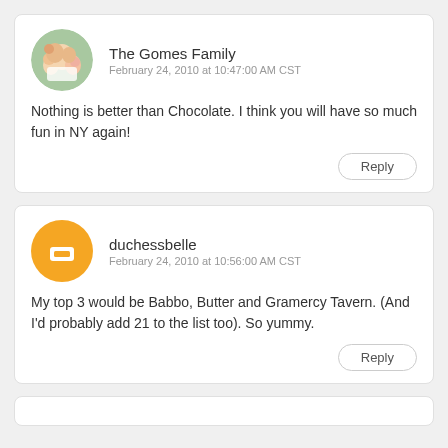The Gomes Family
February 24, 2010 at 10:47:00 AM CST
Nothing is better than Chocolate. I think you will have so much fun in NY again!
Reply
duchessbelle
February 24, 2010 at 10:56:00 AM CST
My top 3 would be Babbo, Butter and Gramercy Tavern. (And I'd probably add 21 to the list too). So yummy.
Reply